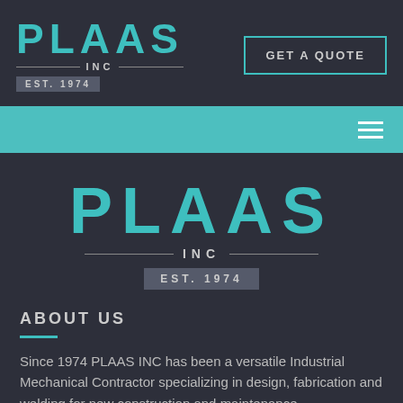[Figure (logo): PLAAS INC EST. 1974 logo in header, teal lettering on dark background]
GET A QUOTE
[Figure (logo): PLAAS INC EST. 1974 large centered logo, teal lettering on dark background]
ABOUT US
Since 1974 PLAAS INC has been a versatile Industrial Mechanical Contractor specializing in design, fabrication and welding for new construction and maintenance.